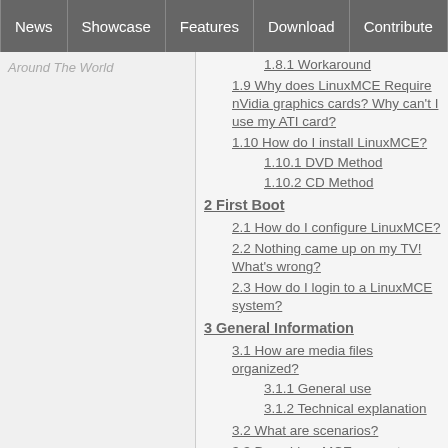News | Showcase | Features | Download | Contribute | Support
Around The World
1.8.1 Workaround
1.9 Why does LinuxMCE Require nVidia graphics cards? Why can't I use my ATI card?
1.10 How do I install LinuxMCE?
1.10.1 DVD Method
1.10.2 CD Method
2 First Boot
2.1 How do I configure LinuxMCE?
2.2 Nothing came up on my TV! What's wrong?
2.3 How do I login to a LinuxMCE system?
3 General Information
3.1 How are media files organized?
3.1.1 General use
3.1.2 Technical explanation
3.2 What are scenarios?
3.3 Does LinuxMCE support encrypted DVD's?
3.4 How can I use additional